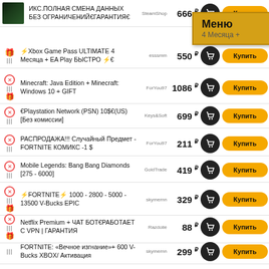ИКС.ПОЛНАЯ СМЕНА ДАННЫХ БЕЗ ОГРАНИЧЕНИЙ ГАРАНТИЯ - SteamShop - 666 р - Купить
Xbox Game Pass ULTIMATE 4 Месяца + EA Play БЫСТРО - esssmm - 550 р - Купить
Minecraft: Java Edition + Minecraft: Windows 10 + GIFT - ForYou97 - 1086 р - Купить
Playstation Network (PSN) 10$(US) [Без комиссии] - Keys&Soft - 699 р - Купить
РАСПРОДАЖА!!! Случайный Предмет - FORTNITE КОМИКС -1 $ - ForYou97 - 211 р - Купить
Mobile Legends: Bang Bang Diamonds [275 - 6000] - GoldTrade - 419 р - Купить
FORTNITE 1000 - 2800 - 5000 - 13500 V-Bucks EPIC - skymernn - 329 р - Купить
Netflix Premium + ЧАТ БОТ РАБОТАЕТ С VPN | ГАРАНТИЯ - Razdolie - 88 р - Купить
FORTNITE: «Вечное изгнание»+ 600 V-Bucks XBOX/ Активация - skymernn - 299 р - Купить
WINDSCRIBE VPN [600GB ГОД/ 50GB КДЫЙ МЕСЯЦ] + ГАРАНТИЯ - KRUCHOK - 59 р - Купить
BLITZ рандом аккаунта (Скидка+ Гарантия) - greebaccs - 23 р - Купить